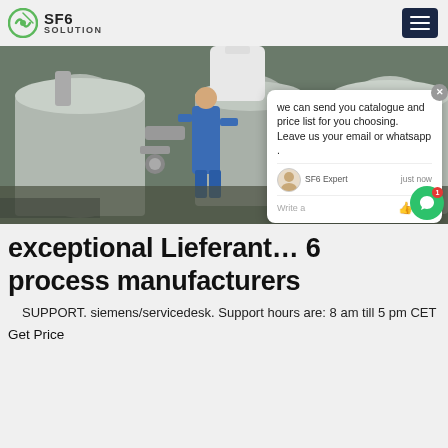SF6 SOLUTION
[Figure (photo): Industrial SF6 equipment — large metal cylinders and pipes with a worker in blue coveralls standing among the machinery]
[Figure (screenshot): Chat popup overlay: 'we can send you catalogue and price list for you choosing. Leave us your email or whatsapp .' with SF6 Expert avatar and 'just now' timestamp and 'Write a' input row]
exceptional Lieferant... 6 process manufacturers
SUPPORT. siemens/servicedesk. Support hours are: 8 am till 5 pm CET
Get Price